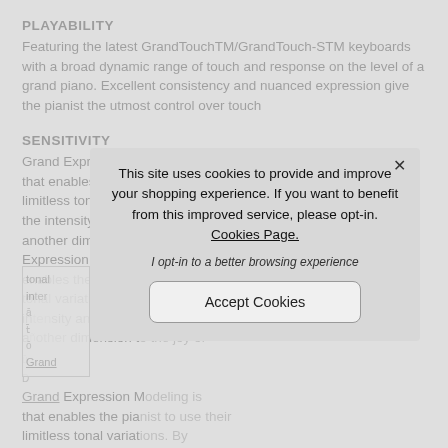PLAYABILITY
Featuring the latest GrandTouchTM/GrandTouch-STM keyboards with a broad dynamic range of touch and response on the level of a grand piano. Excellent consistency and nuanced expression give the pianist the utmost control over touch
SENSITIVITY
Grand Expression Modeling is a ground-breaking new technology that enables the pianist to use their techniques to produce the limitless tonal variat... the intensity and spe... another dimension t... Expression Modeling... enables the pianist t... tonal variation uniqu... intensity and speed... another dimension t...
[Figure (screenshot): Cookie consent overlay dialog with message about site cookies, opt-in text, and Accept Cookies button]
Grand Expression M... that enables the pia... limitless tonal variat... the intensity and spe... another dimension to the joy of musical expression.Grand